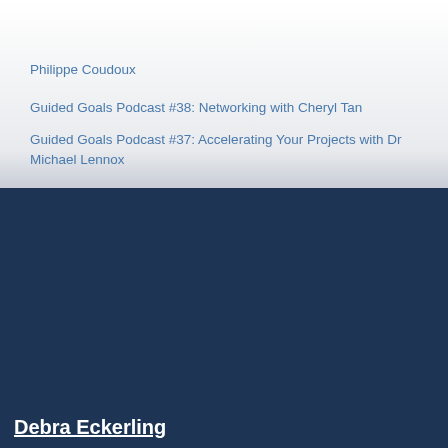Philippe Coudoux
Guided Goals Podcast #38: Networking with Cheryl Tan
Guided Goals Podcast #37: Accelerating Your Projects with Dr Michael Lennox
Debra Eckerling
A project catalyst, Debra Eckerling works with individuals and small businesses to strategize, set goals and manage their projects. Debra … [More...]
Connect